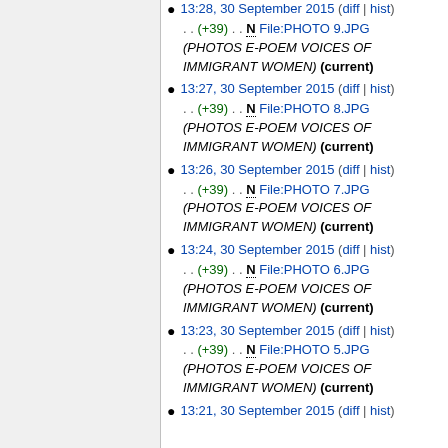13:28, 30 September 2015 (diff | hist) . . (+39) . . N File:PHOTO 9.JPG (PHOTOS E-POEM VOICES OF IMMIGRANT WOMEN) (current)
13:27, 30 September 2015 (diff | hist) . . (+39) . . N File:PHOTO 8.JPG (PHOTOS E-POEM VOICES OF IMMIGRANT WOMEN) (current)
13:26, 30 September 2015 (diff | hist) . . (+39) . . N File:PHOTO 7.JPG (PHOTOS E-POEM VOICES OF IMMIGRANT WOMEN) (current)
13:24, 30 September 2015 (diff | hist) . . (+39) . . N File:PHOTO 6.JPG (PHOTOS E-POEM VOICES OF IMMIGRANT WOMEN) (current)
13:23, 30 September 2015 (diff | hist) . . (+39) . . N File:PHOTO 5.JPG (PHOTOS E-POEM VOICES OF IMMIGRANT WOMEN) (current)
13:21, 30 September 2015 (diff | hist)